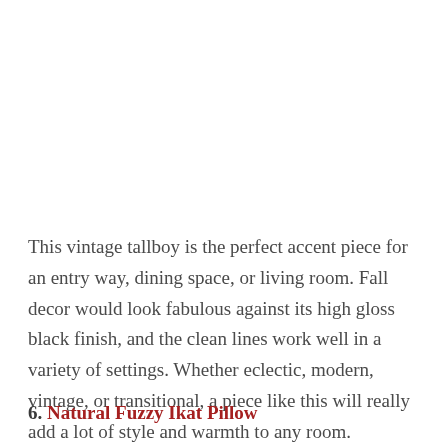This vintage tallboy is the perfect accent piece for an entry way, dining space, or living room. Fall decor would look fabulous against its high gloss black finish, and the clean lines work well in a variety of settings. Whether eclectic, modern, vintage, or transitional, a piece like this will really add a lot of style and warmth to any room.
6. Natural Fuzzy Ikat Pillow